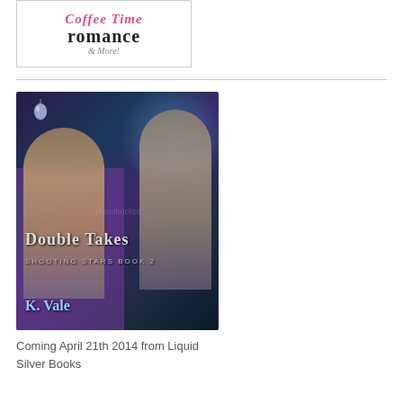[Figure (logo): Coffee Time Romance & More logo with stylized text]
[Figure (illustration): Book cover for 'Double Takes: Shooting Stars Book 2' by K. Vale, showing two men against a space/galaxy background, published by Liquid Silver Books, coming April 21th 2014]
Coming April 21th 2014 from Liquid Silver Books